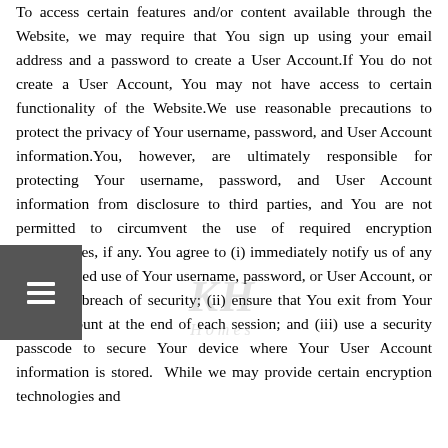To access certain features and/or content available through the Website, we may require that You sign up using your email address and a password to create a User Account.If You do not create a User Account, You may not have access to certain functionality of the Website.We use reasonable precautions to protect the privacy of Your username, password, and User Account information.You, however, are ultimately responsible for protecting Your username, password, and User Account information from disclosure to third parties, and You are not permitted to circumvent the use of required encryption technologies, if any. You agree to (i) immediately notify us of any unauthorized use of Your username, password, or User Account, or any other breach of security; (ii) ensure that You exit from Your User Account at the end of each session; and (iii) use a security passcode to secure Your device where Your User Account information is stored. While we may provide certain encryption technologies and